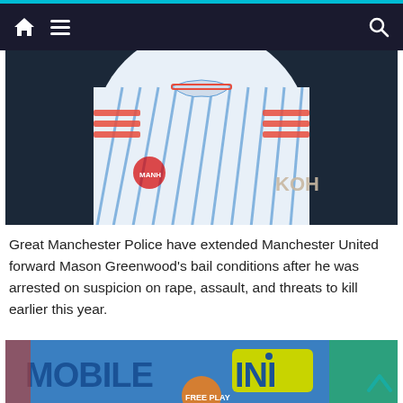Navigation bar with home icon, menu icon, and search icon
[Figure (photo): Close-up photo of a footballer (Mason Greenwood) in a Manchester United away jersey (white and blue striped, with red accents and KOH... sponsor text visible). The player's face is partially cropped, showing neck and jersey detail against a dark blurred stadium background.]
Great Manchester Police have extended Manchester United forward Mason Greenwood's bail conditions after he was arrested on suspicion on rape, assault, and threats to kill earlier this year.
[Figure (logo): MOBILE INI advertisement banner with colorful game characters including a fantasy archer character on the left, cute white character on the right, and a FREE PLAY orange circular badge at the bottom center. The MOBILE text appears in blue block letters and INI in yellow/green block letters on a blue background.]